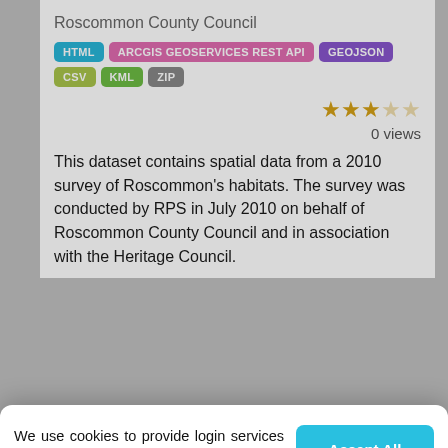Roscommon County Council
HTML | ARCGIS GEOSERVICES REST API | GEOJSON | CSV | KML | ZIP
0 views
This dataset contains spatial data from a 2010 survey of Roscommon's habitats. The survey was conducted by RPS in July 2010 on behalf of Roscommon County Council and in association with the Heritage Council.
We use cookies to provide login services for authorized users, feedback between web requests, and to record your cookie preferences
You can change your settings at any time, including withdrawing your consent, by going to the Privacy Policy page of this site.
Accept All
Reject All
Preferences